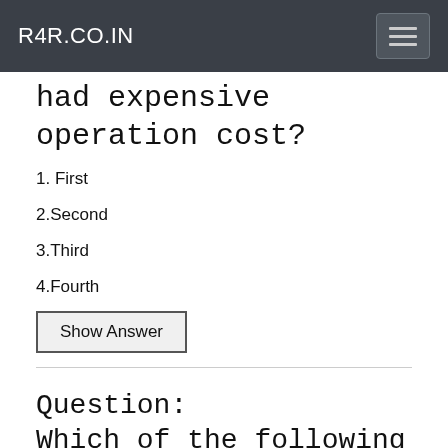R4R.CO.IN
had expensive operation cost?
1. First
2.Second
3.Third
4.Fourth
Show Answer
Question: Which of the following is an example of fifth